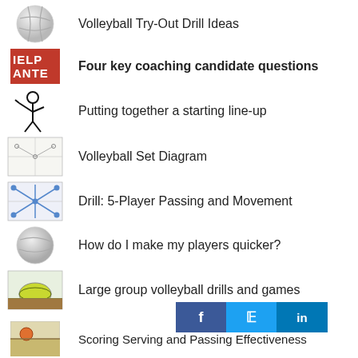Volleyball Try-Out Drill Ideas
Four key coaching candidate questions
Putting together a starting line-up
Volleyball Set Diagram
Drill: 5-Player Passing and Movement
How do I make my players quicker?
Large group volleyball drills and games
Scoring Serving and Passing Effectiveness